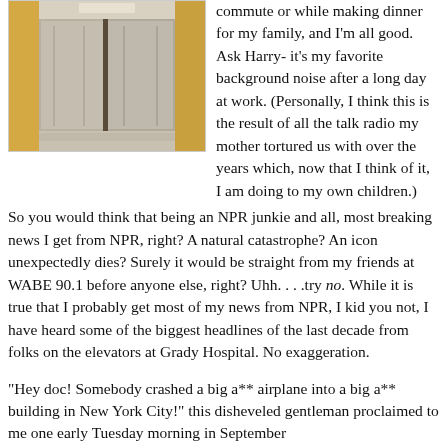[Figure (photo): Hospital elevator interior with metal doors and yellow walls visible on either side]
commute or while making dinner for my family, and I'm all good. Ask Harry- it's my favorite background noise after a long day at work. (Personally, I think this is the result of all the talk radio my mother tortured us with over the years which, now that I think of it, I am doing to my own children.)
So you would think that being an NPR junkie and all, most breaking news I get from NPR, right? A natural catastrophe? An icon unexpectedly dies? Surely it would be straight from my friends at WABE 90.1 before anyone else, right? Uhh. . . .try no. While it is true that I probably get most of my news from NPR, I kid you not, I have heard some of the biggest headlines of the last decade from folks on the elevators at Grady Hospital. No exaggeration.
"Hey doc! Somebody crashed a big a** airplane into a big a** building in New York City!" this disheveled gentleman proclaimed to me one early Tuesday morning in September